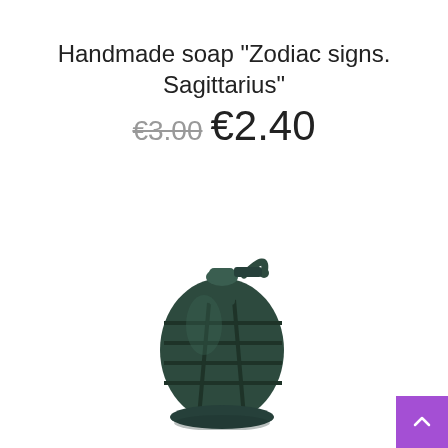Handmade soap "Zodiac signs. Sagittarius"
€3.00 €2.40
[Figure (photo): A dark green hand grenade shaped soap product, photographed against a white background. The soap is modeled to look like a military M-type fragmentation grenade with segmented body and pull ring.]